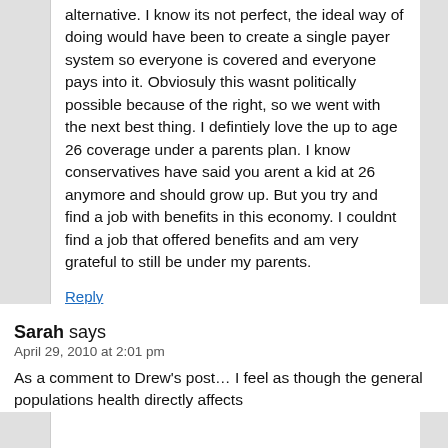alternative. I know its not perfect, the ideal way of doing would have been to create a single payer system so everyone is covered and everyone pays into it. Obviosuly this wasnt politically possible because of the right, so we went with the next best thing. I defintiely love the up to age 26 coverage under a parents plan. I know conservatives have said you arent a kid at 26 anymore and should grow up. But you try and find a job with benefits in this economy. I couldnt find a job that offered benefits and am very grateful to still be under my parents.
Reply
Sarah says
April 29, 2010 at 2:01 pm
As a comment to Drew's post… I feel as though the general populations health directly affects